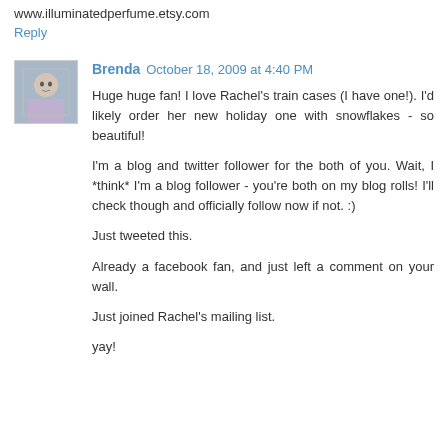www.illuminatedperfume.etsy.com
Reply
Brenda  October 18, 2009 at 4:40 PM
Huge huge fan! I love Rachel's train cases (I have one!). I'd likely order her new holiday one with snowflakes - so beautiful!

I'm a blog and twitter follower for the both of you. Wait, I *think* I'm a blog follower - you're both on my blog rolls! I'll check though and officially follow now if not. :)

Just tweeted this.

Already a facebook fan, and just left a comment on your wall.

Just joined Rachel's mailing list.

yay!